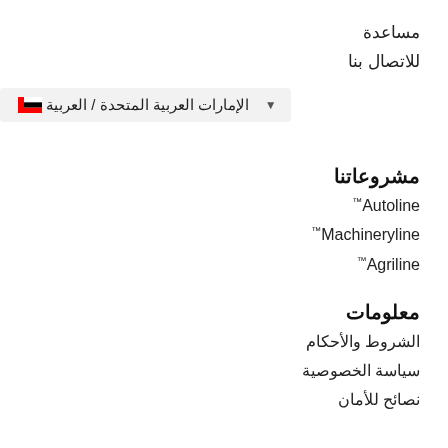مساعدة
للاتصال بنا
الإمارات العربية المتحدة / العربية
مشروعاتنا
Autoline™
Machineryline™
Agriline™
معلومات
الشروط والأحكام
سياسة الخصوصية
نصائح للأمان